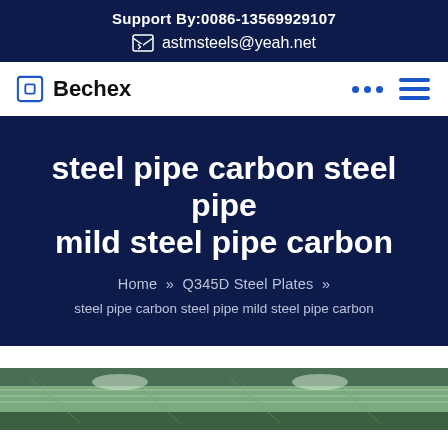Support By:0086-13569929107
astmsteels@yeah.net
Bechex
steel pipe carbon steel pipe mild steel pipe carbon
Home » Q345D Steel Plates » steel pipe carbon steel pipe mild steel pipe carbon
[Figure (photo): Warehouse interior showing steel pipes or structural steel ceiling/roof framing with green painted metal structure]